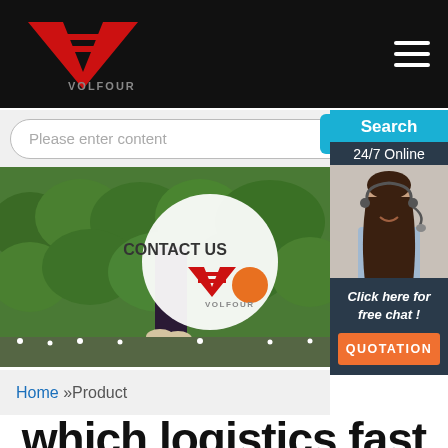VOLFOUR
[Figure (screenshot): Website screenshot with VOLFOUR logo, search bar, banner image of person in front of green hedge with CONTACT US overlay, online 24/7 chat widget showing female agent, breadcrumb navigation Home »Product, and large page title]
Please enter content
Search
24/7 Online
Home »Product
Click here for free chat !
QUOTATION
which logistics fast yummy sport sets special wholesale